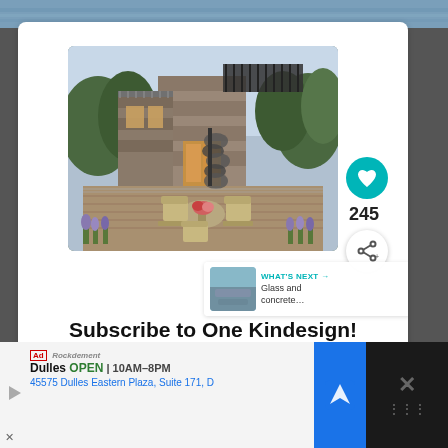[Figure (photo): Top water/ocean strip image at page top]
[Figure (photo): Luxury modern stone house with outdoor deck, spiral staircase, lounge furniture, and lavender plants]
245
WHAT'S NEXT → Glass and concrete...
Subscribe to One Kindesign!
Dulles OPEN | 10AM–8PM 45575 Dulles Eastern Plaza, Suite 171, D